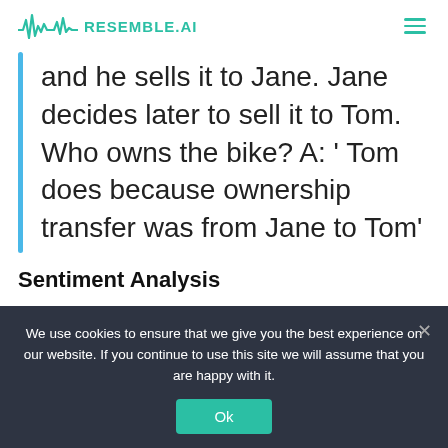RESEMBLE.AI
and he sells it to Jane. Jane decides later to sell it to Tom. Who owns the bike? A: ' Tom does because ownership transfer was from Jane to Tom'
Sentiment Analysis
We use cookies to ensure that we give you the best experience on our website. If you continue to use this site we will assume that you are happy with it.